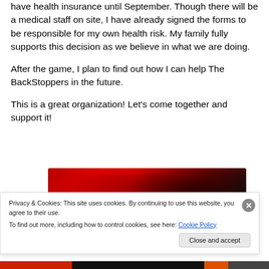have health insurance until September.  Though there will be a medical staff on site, I have already signed the forms to be responsible for my own health risk.  My family fully supports this decision as we believe in what we are doing.
After the game, I plan to find out how I can help The BackStoppers in the future.
This is a great organization!  Let's come together and support it!
[Figure (photo): Partial image of a red device or box, partially visible at bottom of main content area]
Privacy & Cookies: This site uses cookies. By continuing to use this website, you agree to their use.
To find out more, including how to control cookies, see here: Cookie Policy